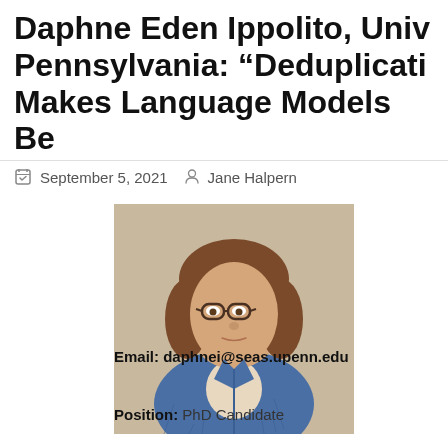Daphne Eden Ippolito, University of Pennsylvania: “Deduplication Makes Language Models Be…
September 5, 2021  Jane Halpern
[Figure (photo): Headshot of Daphne Eden Ippolito, a young woman with shoulder-length reddish-brown wavy hair and glasses, wearing a denim jacket, photographed against a beige/cream background.]
Email: daphnei@seas.upenn.edu
Position: PhD Candidate